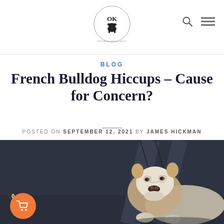OK [logo with French bulldog icon] — navigation with search and menu icons
BLOG
French Bulldog Hiccups – Cause for Concern?
POSTED ON SEPTEMBER 12, 2021 BY JAMES HICKMAN
[Figure (photo): French Bulldog wearing a cone collar, lying on a dark floor, looking downward. A date badge showing '12 Sep' overlays the top-left corner. A shopping cart button with badge '0' is at the bottom-left.]